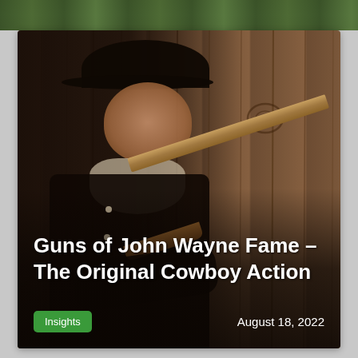[Figure (photo): Sepia-toned photograph of a cowboy (John Wayne style) in a dark hat and jacket, holding a rifle, seated against wooden planks background]
Guns of John Wayne Fame – The Original Cowboy Action
Insights
August 18, 2022